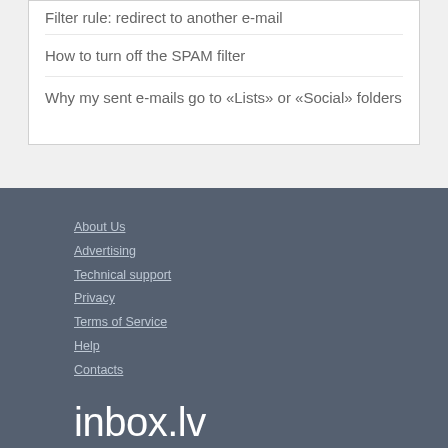Filter rule: redirect to another e-mail
How to turn off the SPAM filter
Why my sent e-mails go to «Lists» or «Social» folders
About Us
Advertising
Technical support
Privacy
Terms of Service
Help
Contacts
inbox.lv
Commercial advertising to inbox.lv users without permission of SIA Inbokss is forbidden.
© 2000 – 2022 Inbokss SIA